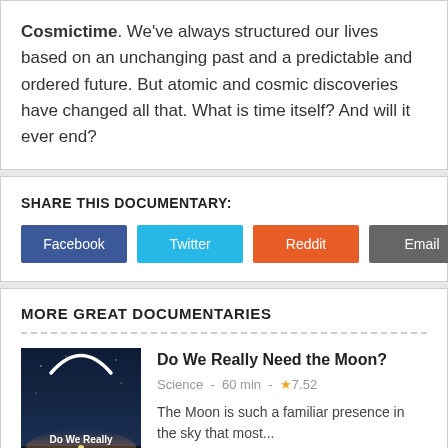Cosmictime. We've always structured our lives based on an unchanging past and a predictable and ordered future. But atomic and cosmic discoveries have changed all that. What is time itself? And will it ever end?
SHARE THIS DOCUMENTARY:
Facebook
Twitter
Reddit
Email
MORE GREAT DOCUMENTARIES
[Figure (photo): Thumbnail for documentary 'Do We Really Need the Moon?' showing a crescent moon arc over a dark landscape with a glowing horizon.]
Do We Really Need the Moon?
Science - 60 min - ★7.52
The Moon is such a familiar presence in the sky that most...